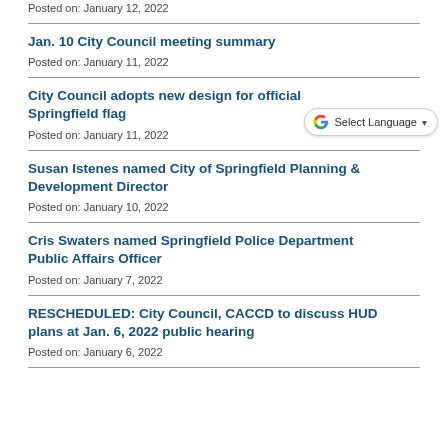Posted on: January 12, 2022
Jan. 10 City Council meeting summary
Posted on: January 11, 2022
City Council adopts new design for official Springfield flag
Posted on: January 11, 2022
Susan Istenes named City of Springfield Planning & Development Director
Posted on: January 10, 2022
Cris Swaters named Springfield Police Department Public Affairs Officer
Posted on: January 7, 2022
RESCHEDULED: City Council, CACCD to discuss HUD plans at Jan. 6, 2022 public hearing
Posted on: January 6, 2022